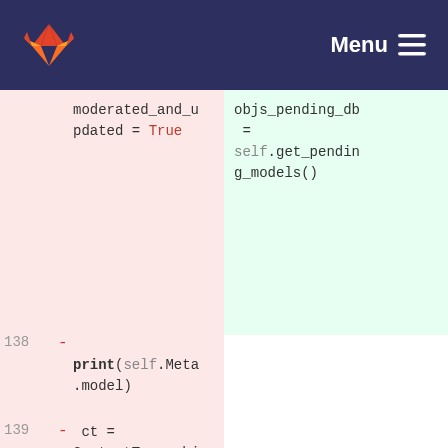GitLab navigation bar with Menu
[Figure (screenshot): Code diff view showing removed lines (pink background) with line numbers 138, 139, 140. Left panel shows deleted Python code: moderated_and_updated = True, print(self.Meta.model), ct = ContentType.objects.get_for_model(self.Meta.model), objs_pending_db = PendingModerati... Right panel shows added lines (green background): objs_pending_db = self.get_pending_models()]